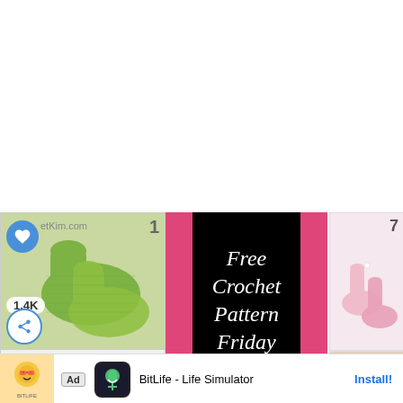[Figure (screenshot): Top white empty area of webpage]
[Figure (photo): Green crocheted socks/mittens with heart button and 1.4K likes, numbered 1]
[Figure (screenshot): What's Next panel: Free Crochet Thigh High... with blue sock image, numbered 2]
[Figure (illustration): Free Crochet Pattern Friday black and pink square logo]
20 Free Patterns for
[Figure (photo): Pink baby crocheted socks numbered 7]
[Figure (photo): Purple and peach crocheted socks from patternsforcrochet.co.uk numbered 6]
[Figure (screenshot): Ad banner: BitLife - Life Simulator Install!]